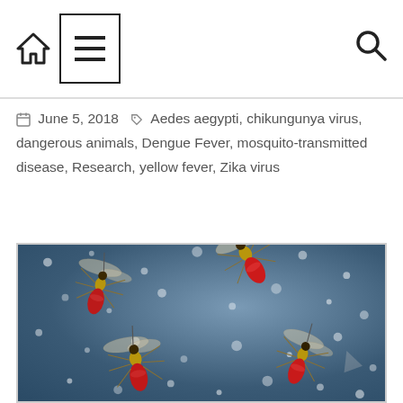Home | Menu | Search
June 5, 2018  Aedes aegypti, chikungunya virus, dangerous animals, Dengue Fever, mosquito-transmitted disease, Research, yellow fever, Zika virus
[Figure (photo): Close-up macro photograph of multiple Aedes aegypti mosquitoes with red blood-filled abdomens against a speckled grey background]